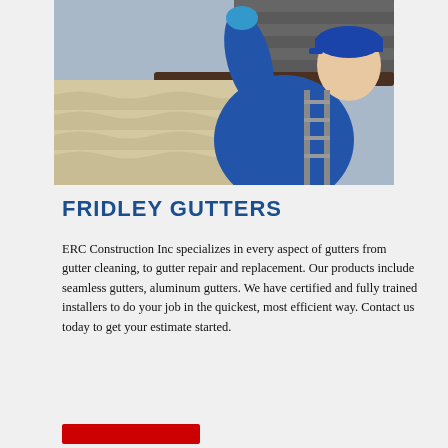[Figure (photo): A worker in a blue polo shirt and blue cap reaching up to install or clean gutters on a roof, standing on a ladder, wearing blue work gloves.]
FRIDLEY GUTTERS
ERC Construction Inc specializes in every aspect of gutters from gutter cleaning, to gutter repair and replacement. Our products include seamless gutters, aluminum gutters. We have certified and fully trained installers to do your job in the quickest, most efficient way. Contact us today to get your estimate started.